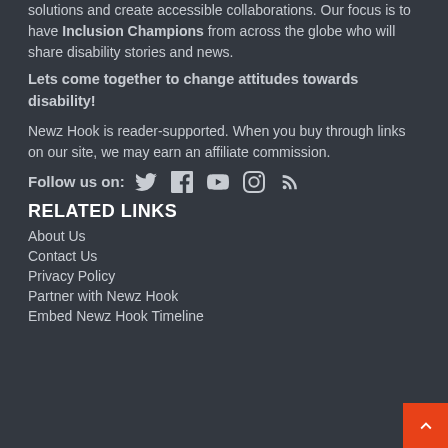solutions and create accessible collaborations. Our focus is to have Inclusion Champions from across the globe who will share disability stories and news.
Lets come together to change attitudes towards disability!
Newz Hook is reader-supported. When you buy through links on our site, we may earn an affiliate commission.
Follow us on: [Twitter] [Facebook] [YouTube] [Instagram] [RSS]
RELATED LINKS
About Us
Contact Us
Privacy Policy
Partner with Newz Hook
Embed Newz Hook Timeline